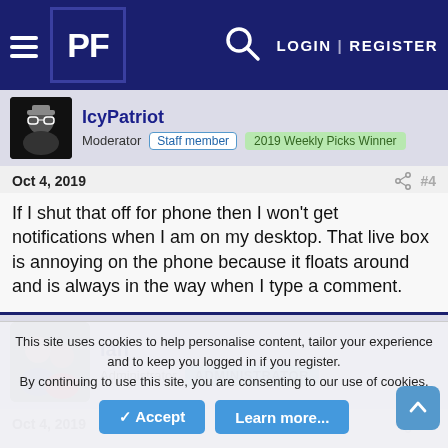PF | LOGIN | REGISTER
IcyPatriot
Moderator | Staff member | 2019 Weekly Picks Winner
Oct 4, 2019 #4
If I shut that off for phone then I won't get notifications when I am on my desktop. That live box is annoying on the phone because it floats around and is always in the way when I type a comment.
Ian
Administrator | ADMINISTRATOR
Oct 4, 2019 #5
This site uses cookies to help personalise content, tailor your experience and to keep you logged in if you register.
By continuing to use this site, you are consenting to our use of cookies.
Accept | Learn more...